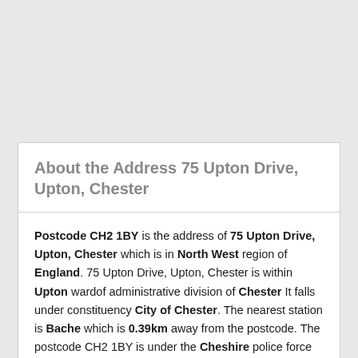About the Address 75 Upton Drive, Upton, Chester
Postcode CH2 1BY is the address of 75 Upton Drive, Upton, Chester which is in North West region of England. 75 Upton Drive, Upton, Chester is within Upton wardof administrative division of Chester It falls under constituency City of Chester. The nearest station is Bache which is 0.39km away from the postcode. The postcode CH2 1BY is under the Cheshire police force and Dee Valley Water is the main water supplier in the area